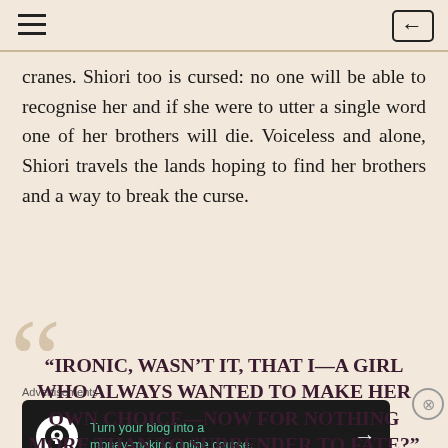Navigation header with hamburger menu and back button
cranes. Shiori too is cursed: no one will be able to recognise her and if she were to utter a single word one of her brothers will die. Voiceless and alone, Shiori travels the lands hoping to find her brothers and a way to break the curse.
“IRONIC, WASN’T IT, THAT I—A GIRL WHO ALWAYS WANTED TO MAKE HER OWN CHOICE—NOW FOR NOTHING MORE THAN TO SURRENDER TO FATE?”
Advertisements
[Figure (other): Advertisement banner: Turn your blog into a money-making online course.]